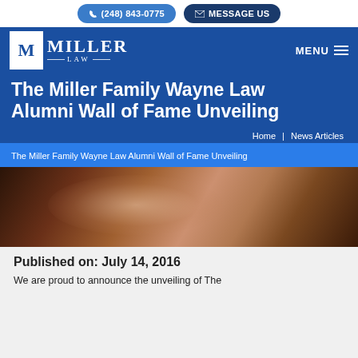(248) 843-0775  MESSAGE US
[Figure (logo): Miller Law firm logo with M in white box and MILLER LAW text]
The Miller Family Wayne Law Alumni Wall of Fame Unveiling
Home  News Articles
The Miller Family Wayne Law Alumni Wall of Fame Unveiling
[Figure (photo): Dark brownish-red background photo, possibly showing a person or object partially visible]
Published on: July 14, 2016
We are proud to announce the unveiling of The